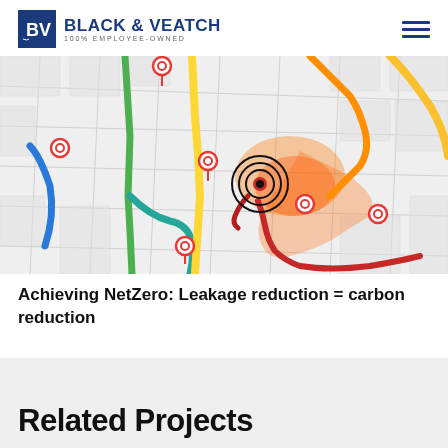BLACK & VEATCH 100% EMPLOYEE-OWNED
[Figure (map): Urban street map showing colored pipeline network routes overlaid on city streets. Features blue, green, teal, yellow, and orange pipeline routes, with red/orange heat-map highlighting a leakage hotspot area. Several location pin markers (red circles with white center) are placed at various points. A concentric circle target symbol marks the main leak area in the center-right portion of the map.]
Achieving NetZero: Leakage reduction = carbon reduction
Related Projects